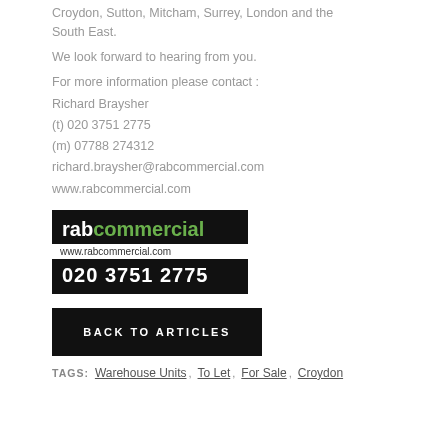Croydon, Sutton, Mitcham, Surrey, London and the South East.
We look forward to hearing from you.
For more information please contact :
Richard Braysher
(t) 020 3751 2775
(m) 07788 274312
richard.braysher@rabcommercial.com
www.rabcommercial.com
[Figure (logo): RAB Commercial logo with company name, website www.rabcommercial.com and phone 020 3751 2775 on dark background]
BACK TO ARTICLES
TAGS: Warehouse Units , To Let , For Sale , Croydon